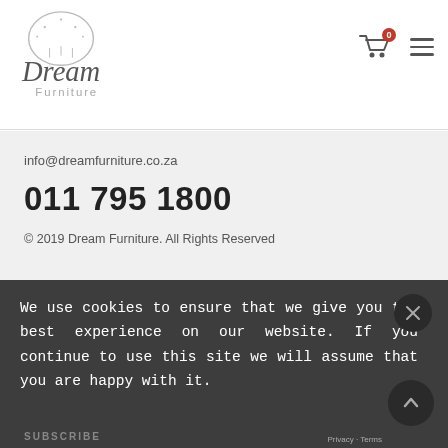Dream Furniture — navigation header with logo, cart icon (0), and hamburger menu
info@dreamfurniture.co.za
011 795 1800
© 2019 Dream Furniture. All Rights Reserved
Newsletter
We use cookies to ensure that we give you the best experience on our website. If you continue to use this site we will assume that you are happy with it.